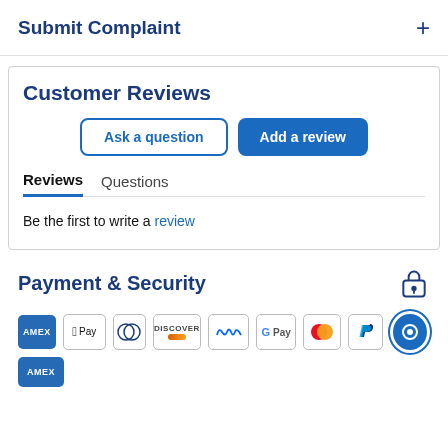Submit Complaint
Customer Reviews
Ask a question
Add a review
Reviews   Questions
Be the first to write a review
Payment & Security
[Figure (infographic): Payment method icons: AMEX, Apple Pay, Diners Club, Discover, Meta Pay, Google Pay, Mastercard, PayPal, chat icon, and a partial AMEX at the bottom.]